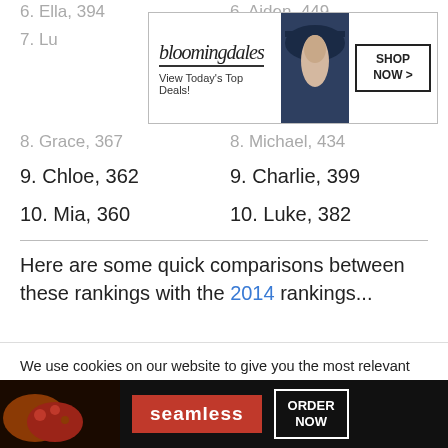6. Ella, 394
6. Aiden, 449
7. Luna
8. Grace, 367
8. Michael, 434
9. Chloe, 362
9. Charlie, 399
10. Mia, 360
10. Luke, 382
[Figure (screenshot): Bloomingdale's advertisement banner: 'View Today's Top Deals!' with SHOP NOW button and woman in hat]
Here are some quick comparisons between these rankings with the 2014 rankings...
We use cookies on our website to give you the most relevant experience by remembering your preferences and repeat visits. By clicking “Accept”, you consent to the use of ALL the cookies.
Do not sell my personal information.
[Figure (screenshot): Seamless food delivery advertisement with pizza image and ORDER NOW button]